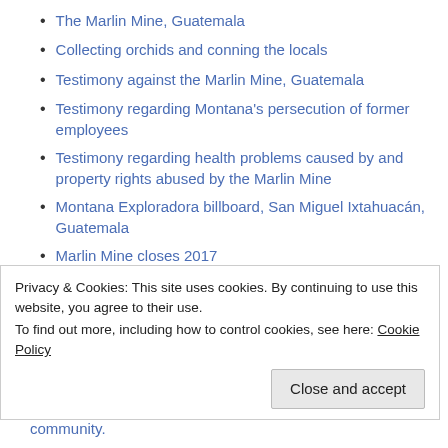The Marlin Mine, Guatemala
Collecting orchids and conning the locals
Testimony against the Marlin Mine, Guatemala
Testimony regarding Montana's persecution of former employees
Testimony regarding health problems caused by and property rights abused by the Marlin Mine
Montana Exploradora billboard, San Miguel Ixtahuacán, Guatemala
Marlin Mine closes 2017
La Puya: celebrating 5 years of peaceful resistance against a Kappes Cassiday & Associates subsidiary
Mining sector socio-ecological conflicts in Guatemala, 2005 – 2013
Privacy & Cookies: This site uses cookies. By continuing to use this website, you agree to their use. To find out more, including how to control cookies, see here: Cookie Policy
Close and accept
community.